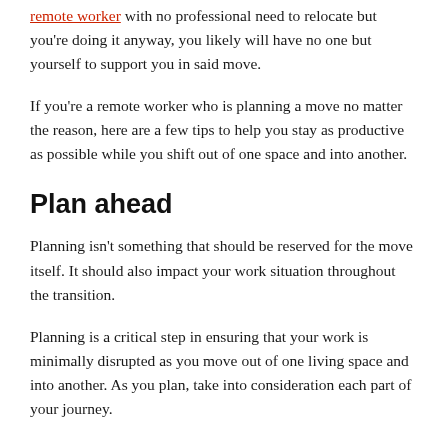remote worker with no professional need to relocate but you're doing it anyway, you likely will have no one but yourself to support you in said move.
If you're a remote worker who is planning a move no matter the reason, here are a few tips to help you stay as productive as possible while you shift out of one space and into another.
Plan ahead
Planning isn't something that should be reserved for the move itself. It should also impact your work situation throughout the transition.
Planning is a critical step in ensuring that your work is minimally disrupted as you move out of one living space and into another. As you plan, take into consideration each part of your journey.